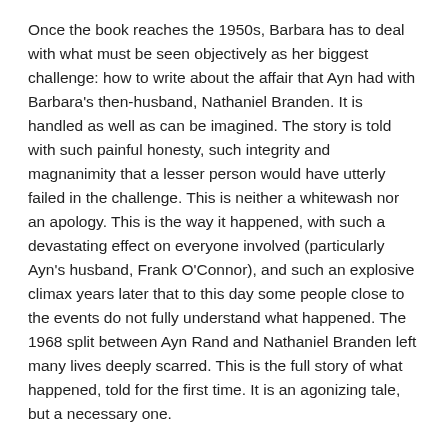Once the book reaches the 1950s, Barbara has to deal with what must be seen objectively as her biggest challenge: how to write about the affair that Ayn had with Barbara's then-husband, Nathaniel Branden. It is handled as well as can be imagined. The story is told with such painful honesty, such integrity and magnanimity that a lesser person would have utterly failed in the challenge. This is neither a whitewash nor an apology. This is the way it happened, with such a devastating effect on everyone involved (particularly Ayn's husband, Frank O'Connor), and such an explosive climax years later that to this day some people close to the events do not fully understand what happened. The 1968 split between Ayn Rand and Nathaniel Branden left many lives deeply scarred. This is the full story of what happened, told for the first time. It is an agonizing tale, but a necessary one.
Ayn Rand had an enormous influence more than most of her admirers know. She had a particularly powerful impact on the contemporary libertarian movement, and I once wrote that trying to sort out that impact is rather like trying to sort out how Christianity transformed Western civilization. It is that complex.
It isn't really just a matter of her ideas, which were always